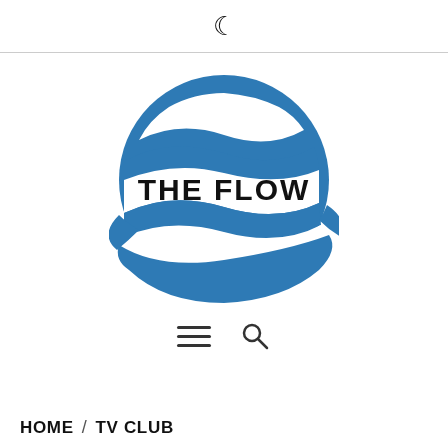🌙
[Figure (logo): The Flow logo: a circular globe-like shape with blue wave bands and white gaps, with bold black text 'THE FLOW' across the center band]
[Figure (infographic): Navigation icons: hamburger menu (three horizontal lines) and magnifying glass search icon]
HOME / TV CLUB